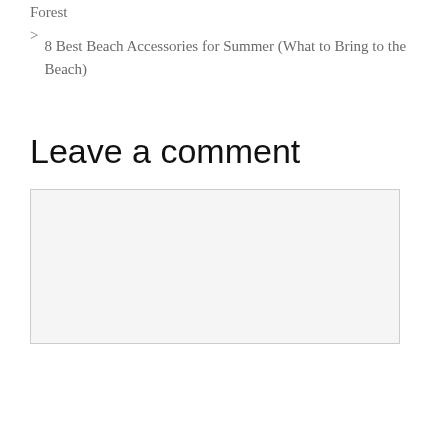Forest
8 Best Beach Accessories for Summer (What to Bring to the Beach)
Leave a comment
[Figure (other): Empty comment text area input box with light gray background and thin border]